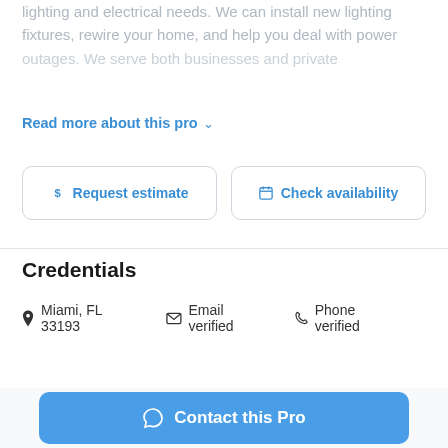lighting and electrical needs. We can install new lighting fixtures, rewire your home, and help you deal with power outages. We serve both businesses and private
Read more about this pro ∨
$ Request estimate
Check availability
Credentials
Miami, FL 33193   Email verified   Phone verified
Contact this Pro